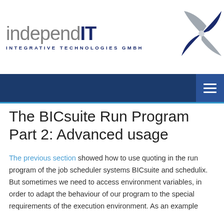[Figure (logo): independIT Integrative Technologies GmbH logo with stylized pinwheel/star icon in grey and dark blue]
The BICsuite Run Program Part 2: Advanced usage
The previous section showed how to use quoting in the run program of the job scheduler systems BICsuite and schedulix. But sometimes we need to access environment variables, in order to adapt the behaviour of our program to the special requirements of the execution environment. As an example